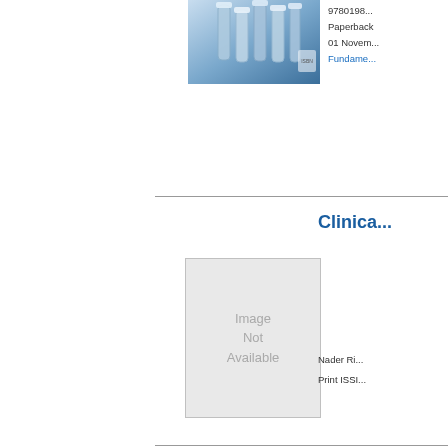[Figure (photo): Book cover showing laboratory test tubes with blue metallic appearance]
9780198...
Paperback
01 Novem...
Fundame...
[Figure (photo): Image Not Available placeholder for Clinical book]
Clinica...
Nader Ri...
Print ISSI...
[Figure (photo): Community Nutritional Assessment book cover - dark navy blue with gold text]
Comm...
With Spe...
Derrick B...
97801926...
Hardback
12 April...